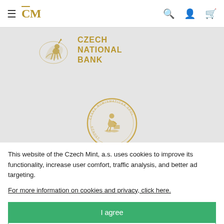≡ ĈM [navigation icons: search, account, cart]
[Figure (logo): Czech National Bank logo with lion emblem and text CZECH NATIONAL BANK in gold/brown]
[Figure (logo): Circular coin/medallion logo with seated figure and Czech text around the border]
This website of the Czech Mint, a.s. uses cookies to improve its functionality, increase user comfort, traffic analysis, and better ad targeting.
For more information on cookies and privacy, click here.
I agree
Detailed settings